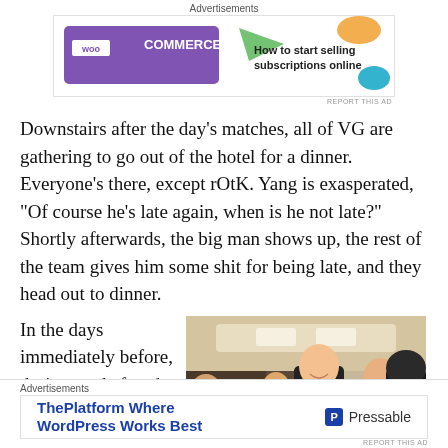[Figure (infographic): WooCommerce advertisement banner: purple WooCommerce logo on left, text 'How to start selling subscriptions online' on right with colorful leaf shapes]
Downstairs after the day's matches, all of VG are gathering to go out of the hotel for a dinner. Everyone's there, except rOtK. Yang is exasperated, “Of course he’s late again, when is he not late?” Shortly afterwards, the big man shows up, the rest of the team gives him some shit for being late, and they head out to dinner.
In the days immediately before, during, and after the
[Figure (photo): Photo of people gathered at what appears to be a hotel dining area or restaurant, including tall person smiling and others in background]
[Figure (infographic): Pressable advertisement: 'ThePlatform Where WordPress Works Best' with Pressable logo on right]